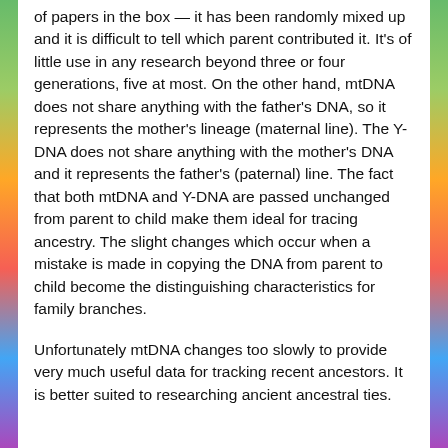of papers in the box — it has been randomly mixed up and it is difficult to tell which parent contributed it. It's of little use in any research beyond three or four generations, five at most. On the other hand, mtDNA does not share anything with the father's DNA, so it represents the mother's lineage (maternal line). The Y-DNA does not share anything with the mother's DNA and it represents the father's (paternal) line. The fact that both mtDNA and Y-DNA are passed unchanged from parent to child make them ideal for tracing ancestry. The slight changes which occur when a mistake is made in copying the DNA from parent to child become the distinguishing characteristics for family branches.
Unfortunately mtDNA changes too slowly to provide very much useful data for tracking recent ancestors. It is better suited to researching ancient ancestral ties.